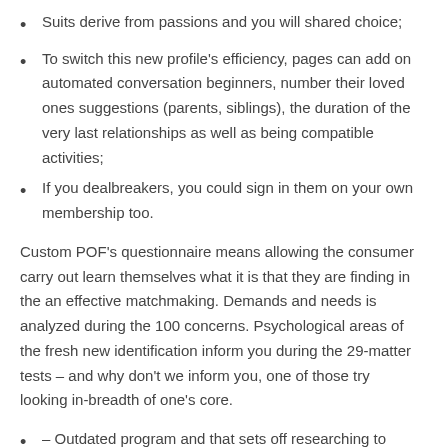Suits derive from passions and you will shared choice;
To switch this new profile’s efficiency, pages can add on automated conversation beginners, number their loved ones suggestions (parents, siblings), the duration of the very last relationships as well as being compatible activities;
If you dealbreakers, you could sign in them on your own membership too.
Custom POF’s questionnaire means allowing the consumer carry out learn themselves what it is that they are finding in the an effective matchmaking. Demands and needs is analyzed during the 100 concerns. Psychological areas of the fresh new identification inform you during the 29-matter tests – and why don’t we inform you, one of those try looking in-breadth of one’s core.
– Outdated program and that sets off researching to help